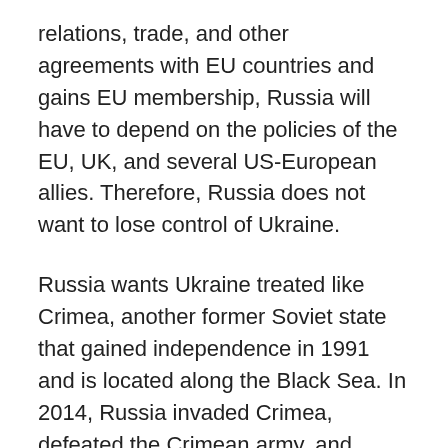relations, trade, and other agreements with EU countries and gains EU membership, Russia will have to depend on the policies of the EU, UK, and several US-European allies. Therefore, Russia does not want to lose control of Ukraine.
Russia wants Ukraine treated like Crimea, another former Soviet state that gained independence in 1991 and is located along the Black Sea. In 2014, Russia invaded Crimea, defeated the Crimean army, and annexed Crimea. Crimea is now largely under the control of Russia.
The eastern Ukrainian regions of Donetsk and Luhansk, inhabited by Russians, are also pushing for the accession of Ukraine to Russia. Ukrainian rebels are supported by Russia.